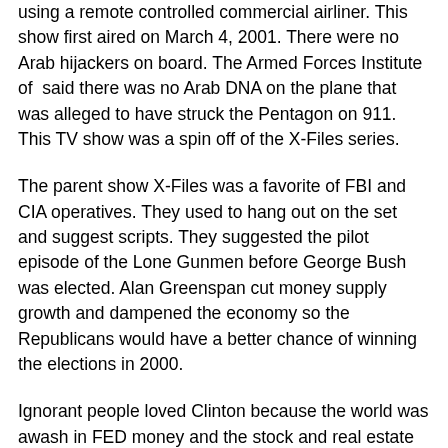using a remote controlled commercial airliner. This show first aired on March 4, 2001. There were no Arab hijackers on board. The Armed Forces Institute of said there was no Arab DNA on the plane that was alleged to have struck the Pentagon on 911. This TV show was a spin off of the X-Files series.
The parent show X-Files was a favorite of FBI and CIA operatives. They used to hang out on the set and suggest scripts. They suggested the pilot episode of the Lone Gunmen before George Bush was elected. Alan Greenspan cut money supply growth and dampened the economy so the Republicans would have a better chance of winning the elections in 2000.
Ignorant people loved Clinton because the world was awash in FED money and the stock and real estate